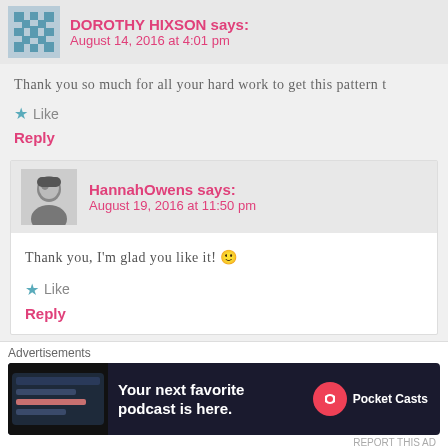DOROTHY HIXSON says:
August 14, 2016 at 4:01 pm
Thank you so much for all your hard work to get this pattern t
★ Like
Reply
HannahOwens says:
August 19, 2016 at 11:50 pm
Thank you, I'm glad you like it! 🙂
★ Like
Reply
Jorii Coker says:
Advertisements
Your next favorite podcast is here.
Pocket Casts